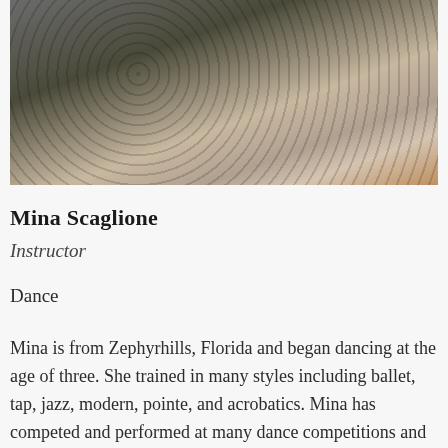[Figure (photo): Portrait photo of Mina Scaglione wearing a knitted garment with decorative pattern, partially visible against a dark background with warm tones.]
Mina Scaglione
Instructor
Dance
Mina is from Zephyrhills, Florida and began dancing at the age of three. She trained in many styles including ballet, tap, jazz, modern, pointe, and acrobatics. Mina has competed and performed at many dance competitions and showcases